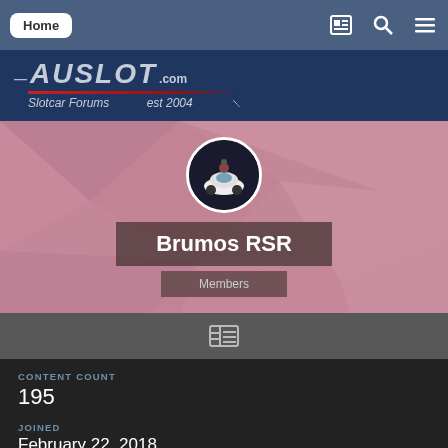Home
[Figure (logo): AUSLOT.com Slotcar Forums est 2004 logo on dark blue background]
[Figure (photo): User profile page for Brumos RSR showing avatar of a white slot car model, username Brumos RSR, role Members, on a pink geometric polygon background]
CONTENT COUNT
195
JOINED
February 22, 2018